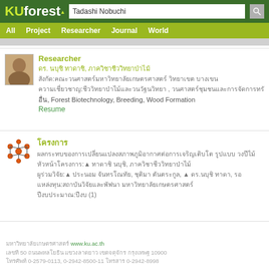KUforest — Search: Tadashi Nobuchi
All  Project  Researcher  Journal  World
Researcher
ดร. นบุชิ ทาดาชิ, ภาควิชาชีววิทยาป่าไม้
สังกัด:คณะวนศาสตร์มหาวิทยาลัยเกษตรศาสตร์ วิทยาเขต บางเขน
ความเชี่ยวชาญ:ชีววิทยาป่าไม้และวนวัฒนวิทยา , วนศาสตร์ชุมชนและการจัดการทรัพยากรธรรมชาติ
อื่น, Forest Biotechnology, Breeding, Wood Formation
Resume
โครงการ
ผลกระทบของการเปลี่ยนแปลงสภาพภูมิอากาศต่อการเจริญเติบโต รูปแบบ วงปีไม้
หัวหน้าโครงการ: ทาดาชิ นบุชิ, ภาควิชาชีววิทยาป่าไม้
ผู้ร่วมวิจัย: ประนอม จันทรโณทัย, ชุติมา ตันตระกูล, ดร.นบุชิ ทาดา, รอ
แหล่งทุน:สถาบันวิจัยและพัฒนา มหาวิทยาลัยเกษตรศาสตร์
ปีงบประมาณ:ปีงบ (1)
มหาวิทยาลัยเกษตรศาสตร์ www.ku.ac.th
เลขที่ 50 ถนนพหลโยธิน แขวงลาดยาว เขตจตุจักร กรุงเทพฯ 10900
โทรศัพท์ 0-2579-0113, 0-2942-8500-11 โทรสาร 0-2942-8998